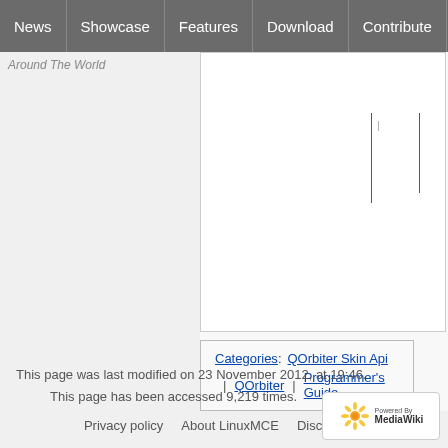News | Showcase | Features | Download | Contribute | Support
Around The World
[Figure (screenshot): Partial table or content area with vertical divider lines visible]
Categories: QOrbiter Skin Api | QOrbiter | Programmer's Guide
This page was last modified on 23 November 2012, at 19:46.
This page has been accessed 9,219 times.
Privacy policy   About LinuxMCE   Disclaimers
[Figure (logo): Powered by MediaWiki logo]